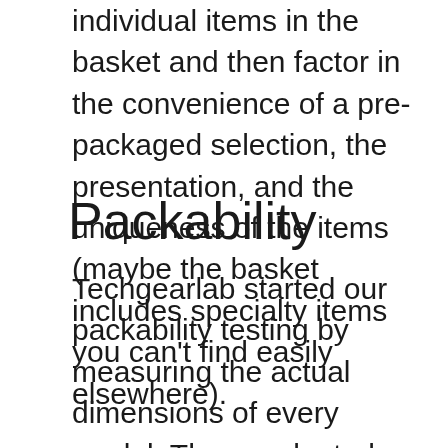individual items in the basket and then factor in the convenience of a pre-packaged selection, the presentation, and the uniqueness of the items (maybe the basket includes specialty items you can't find easily elsewhere).
Packability
Techgearlab started our packability testing by measuring the actual dimensions of every model. They evaluated the diversity of objects they could fit inside and considered the efficiency of their overall size vs. capacity. We jammed them to the brim and then tried to find specific objects buried within. We tested lids and latches, considering their effectiveness and ease of